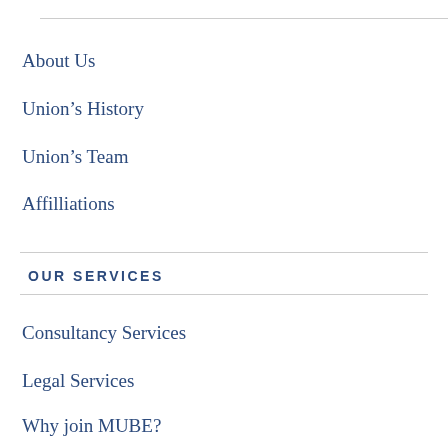About Us
Union's History
Union's Team
Affiliations
OUR SERVICES
Consultancy Services
Legal Services
Why join MUBE?